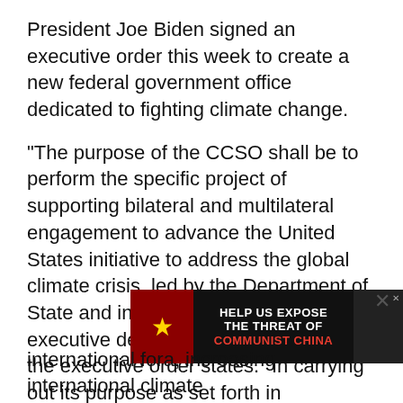President Joe Biden signed an executive order this week to create a new federal government office dedicated to fighting climate change.
"The purpose of the CCSO shall be to perform the specific project of supporting bilateral and multilateral engagement to advance the United States initiative to address the global climate crisis, led by the Department of State and in coordination with other executive departments and agencies," the executive order states. "In carrying out its purpose as set forth in subsection 1(c) of this order, the CCSO shall support the Department of State and other executive departments and agencies, as
[Figure (other): Advertisement banner: HELP US EXPOSE THE THREAT OF COMMUNIST CHINA with Chinese flag imagery and photo of Xi Jinping]
international fora, increasing international climate